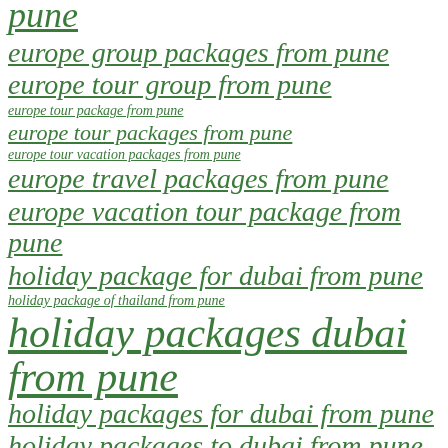pune
europe group packages from pune
europe tour group from pune
europe tour package from pune
europe tour packages from pune
europe tour vacation packages from pune
europe travel packages from pune
europe vacation tour package from pune
holiday package for dubai from pune
holiday package of thailand from pune
holiday packages dubai from pune
holiday packages for dubai from pune
holiday packages to dubai from pune
holiday package to dubai from pune